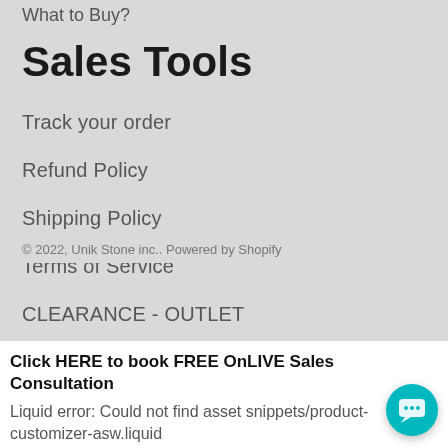What to Buy?
Sales Tools
Track your order
Refund Policy
Shipping Policy
Terms of Service
CLEARANCE - OUTLET
Payment Portal (CAD)
Payment Portal (USD)
© 2022, Unik Stone inc.. Powered by Shopify
[Figure (screenshot): Chat popup with avatar showing 'You have questions ? I'll be happy to help.' and a teal chat button]
Click HERE to book FREE OnLIVE Sales Consultation
Liquid error: Could not find asset snippets/product-customizer-asw.liquid